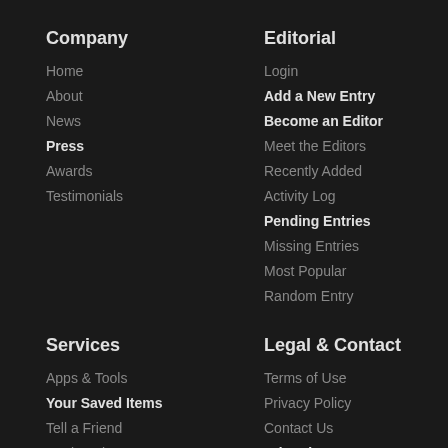Company
Home
About
News
Press
Awards
Testimonials
Editorial
Login
Add a New Entry
Become an Editor
Meet the Editors
Recently Added
Activity Log
Pending Entries
Missing Entries
Most Popular
Random Entry
Services
Apps & Tools
Your Saved Items
Tell a Friend
Bookmark Us
What is this acronym?
Acronym of the Day
The Acronym Generator
Legal & Contact
Terms of Use
Privacy Policy
Contact Us
Advertise
Get the Apps: